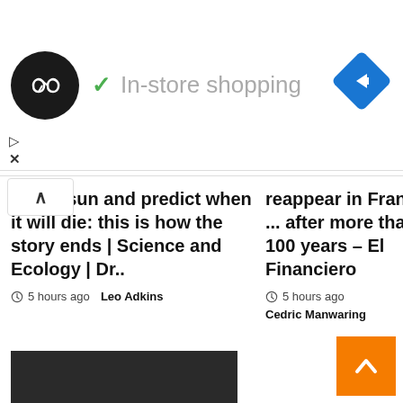[Figure (logo): Dark circular logo with double infinity/loop arrow symbol in white]
✓ In-store shopping
[Figure (logo): Blue diamond navigation/maps icon with right-turn arrow]
▷
✕
^
of our sun and predict when it will die: this is how the story ends | Science and Ecology | Dr..
5 hours ago  Leo Adkins
reappear in France ... after more than 100 years – El Financiero
5 hours ago  Cedric Manwaring
[Figure (photo): Dark/black image thumbnail]
[Figure (other): Orange back-to-top button with upward chevron]